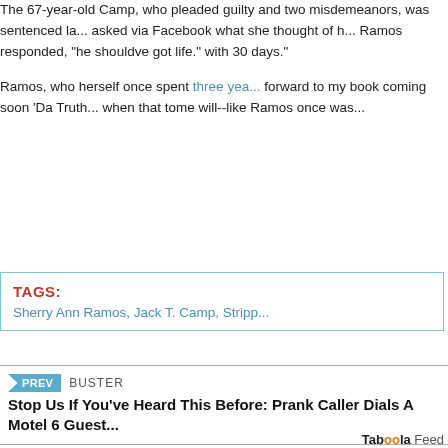The 67-year-old Camp, who pleaded guilty and two misdemeanors, was sentenced la... asked via Facebook what she thought of h... Ramos responded, "he shouldve got life." ... with 30 days."

Ramos, who herself once spent three yea... forward to my book coming soon 'Da Truth... when that tome will--like Ramos once was...
TAGS: Sherry Ann Ramos, Jack T. Camp, Stripp...
PREV BUSTER
Stop Us If You've Heard This Before: Prank Caller Dials A Motel 6 Guest...
Taboola Feed